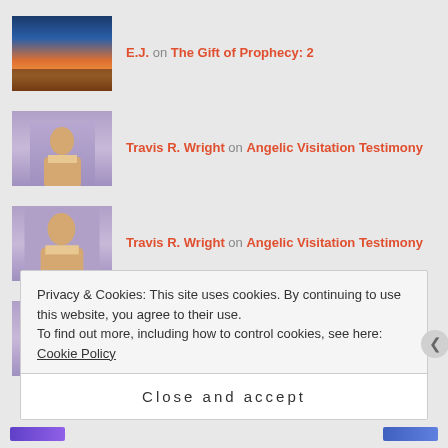E.J. on The Gift of Prophecy: 2
Travis R. Wright on Angelic Visitation Testimony
Travis R. Wright on Angelic Visitation Testimony
Travis R. Wright on Angelic Visitation Testimony
Privacy & Cookies: This site uses cookies. By continuing to use this website, you agree to their use. To find out more, including how to control cookies, see here: Cookie Policy
Close and accept